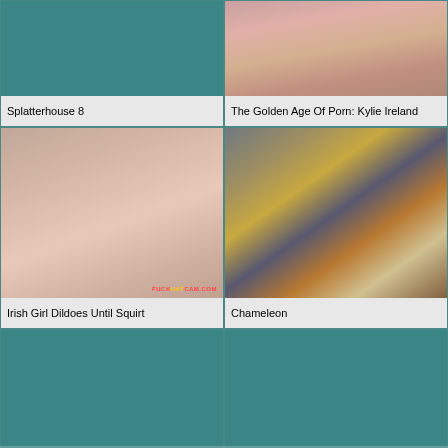[Figure (photo): Thumbnail placeholder - teal background (Splatterhouse 8)]
[Figure (photo): Thumbnail of nude figures outdoors (The Golden Age Of Porn: Kylie Ireland)]
Splatterhouse 8
The Golden Age Of Porn: Kylie Ireland
[Figure (photo): Close-up intimate webcam photo with watermark fuckhatcam.com (Irish Girl Dildoes Until Squirt)]
[Figure (photo): Movie still with man in black hat and leather vest with blonde woman in purple (Chameleon)]
Irish Girl Dildoes Until Squirt
Chameleon
[Figure (photo): Thumbnail placeholder - teal background (bottom left)]
[Figure (photo): Thumbnail placeholder - teal background (bottom right)]